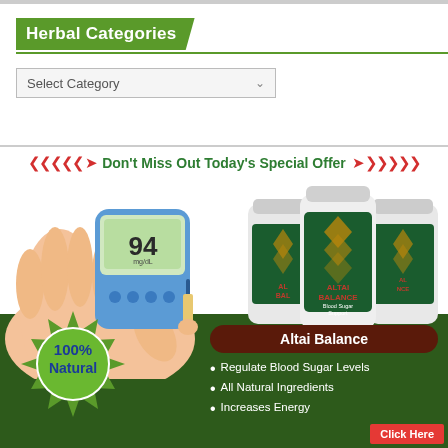Herbal Categories
Select Category
Don't Miss Out Today's Special Offer
[Figure (photo): Advertisement for Altai Balance blood sugar supplement showing a hand holding a blood glucose meter reading 94, three bottles of Altai Balance product, a 100% Natural green seal badge, and bullet points: Regulate Blood Sugar Levels, All Natural Ingredients, Increases Energy, with a Click Here button.]
Regulate Blood Sugar Levels
All Natural Ingredients
Increases Energy